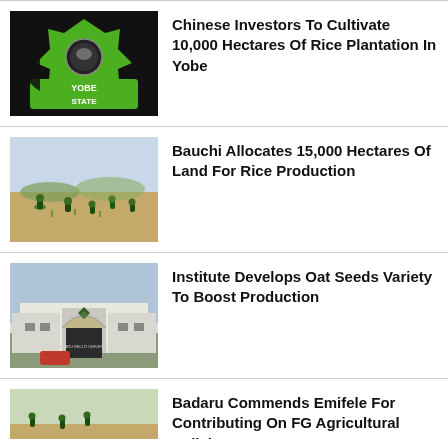[Figure (photo): Green and black Yobe State logo/shield graphic]
Chinese Investors To Cultivate 10,000 Hectares Of Rice Plantation In Yobe
[Figure (photo): People farming/planting in dry agricultural field]
Bauchi Allocates 15,000 Hectares Of Land For Rice Production
[Figure (photo): Ahmadu Bello University entrance gate]
Institute Develops Oat Seeds Variety To Boost Production
[Figure (photo): People farming in agricultural field]
Badaru Commends Emifele For Contributing On FG Agricultural Policies